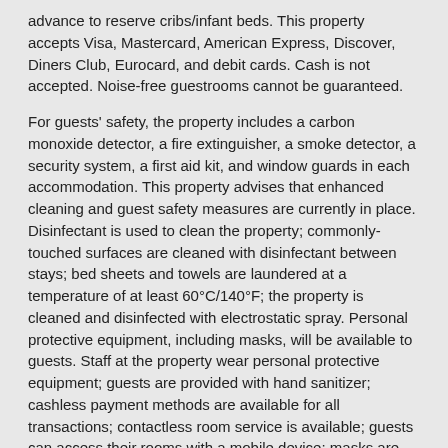advance to reserve cribs/infant beds. This property accepts Visa, Mastercard, American Express, Discover, Diners Club, Eurocard, and debit cards. Cash is not accepted. Noise-free guestrooms cannot be guaranteed.
For guests' safety, the property includes a carbon monoxide detector, a fire extinguisher, a smoke detector, a security system, a first aid kit, and window guards in each accommodation. This property advises that enhanced cleaning and guest safety measures are currently in place. Disinfectant is used to clean the property; commonly-touched surfaces are cleaned with disinfectant between stays; bed sheets and towels are laundered at a temperature of at least 60°C/140°F; the property is cleaned and disinfected with electrostatic spray. Personal protective equipment, including masks, will be available to guests. Staff at the property wear personal protective equipment; guests are provided with hand sanitizer; cashless payment methods are available for all transactions; contactless room service is available; guests can access their rooms with a mobile device; masks are required in public areas for unvaccinated guests. Contactless check-in and contactless check-out are available. Individually-wrapped food options are available for breakfast, lunch, and dinner, and also through room service. Enhanced food service safety measures are in place. This property affirms that it follows the cleaning and disinfection practices of CleanStay (Hilton). This property affirms that it adheres to the cleaning and disinfection practices of WELL Health-Safety Rating (IWBI), COVID-19 Guidelines (CDC), and Ecolab